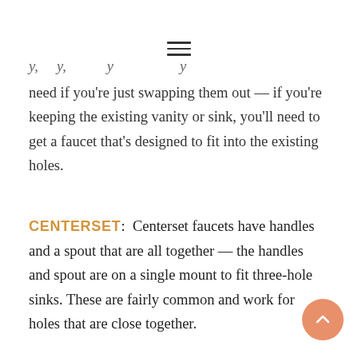≡
…y…y…y…y need if you're just swapping them out — if you're keeping the existing vanity or sink, you'll need to get a faucet that's designed to fit into the existing holes.
CENTERSET:  Centerset faucets have handles and a spout that are all together — the handles and spout are on a single mount to fit three-hole sinks. These are fairly common and work for holes that are close together.